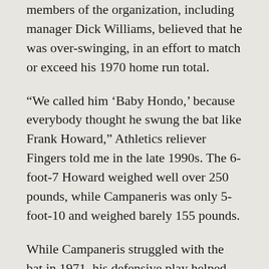members of the organization, including manager Dick Williams, believed that he was over-swinging, in an effort to match or exceed his 1970 home run total.
“We called him ‘Baby Hondo,’ because everybody thought he swung the bat like Frank Howard,” Athletics reliever Fingers told me in the late 1990s. The 6-foot-7 Howard weighed well over 250 pounds, while Campaneris was only 5-foot-10 and weighed barely 155 pounds.
While Campaneris struggled with the bat in 1971, his defensive play helped the team enormously. Now a sure-handed shortstop, Campaneris cemented a strong defensive infield that featured Dick Green at second base and Sal Bando at third base. Buttressed by an excellent